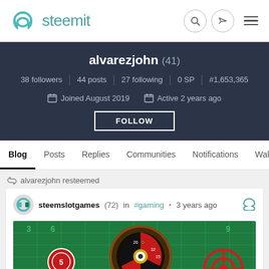steemit
alvarezjohn (41)
38 followers | 44 posts | 27 following | 0 SP | #1,653,365
Joined August 2019   Active 2 years ago
FOLLOW
Blog  Posts  Replies  Communities  Notifications  Wallet
alvarezjohn resteemed
steemslotgames (72) in #gaming • 3 years ago
[Figure (photo): Roulette wheel casino game image with chips and target overlay on green background]